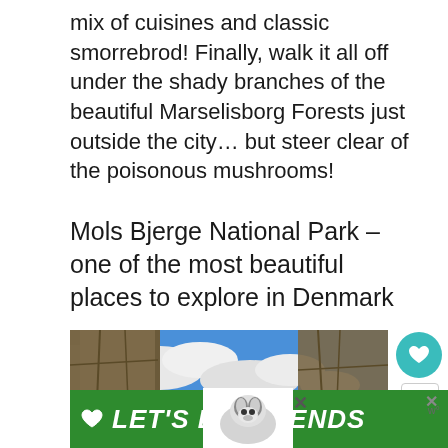mix of cuisines and classic smorrebrod! Finally, walk it all off under the shady branches of the beautiful Marselisborg Forests just outside the city… but steer clear of the poisonous mushrooms!
Mols Bjerge National Park – one of the most beautiful places to explore in Denmark
[Figure (photo): Outdoor scene showing rocky stone walls on left and right with blue cloudy sky in the centre, photographed from below looking up]
LET'S BE FRIENDS